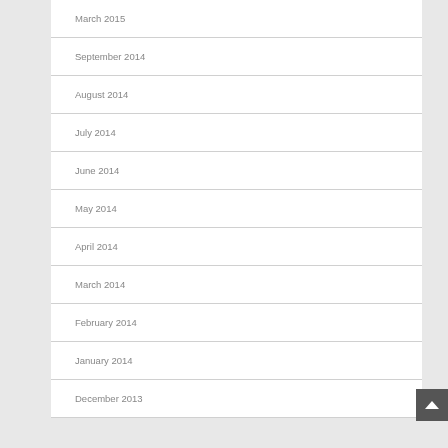March 2015
September 2014
August 2014
July 2014
June 2014
May 2014
April 2014
March 2014
February 2014
January 2014
December 2013